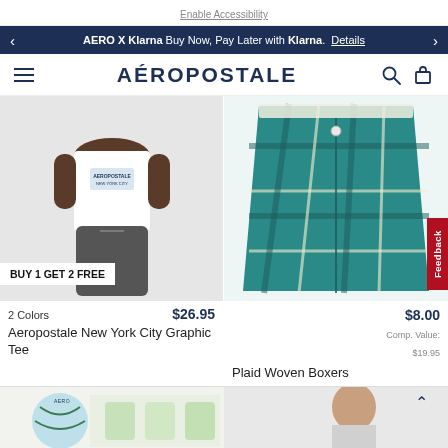Enable Accessibility
AERO X Klarna Buy Now, Pay Later with Klarna. Details
AÉROPOSTALE
[Figure (photo): Product photo of a person wearing a white Aeropostale New York City graphic tee and dark gray shorts, with BUY 1 GET 2 FREE badge]
BUY 1 GET 2 FREE
2 Colors   $26.95
Aeropostale New York City Graphic Tee
[Figure (photo): Product photo of teal/green plaid woven boxer shorts on white background]
$8.00
Comp. Value: $19.95
Plaid Woven Boxers
[Figure (photo): Bottom left product thumbnail - Aero graphic print boxers with world/earth design]
[Figure (photo): Bottom right product thumbnail - model wearing clothing]